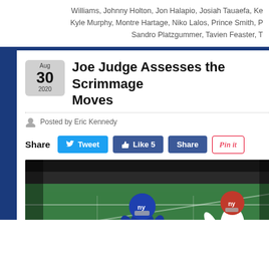Williams, Johnny Holton, Jon Halapio, Josiah Tauaefa, Ke... Kyle Murphy, Montre Hartage, Niko Lalos, Prince Smith, P... Sandro Platzgummer, Tavien Feaster, T...
Joe Judge Assesses the Scrimmage Moves
Posted by Eric Kennedy
Share  Tweet  Like 5  Share  Pin it
[Figure (photo): Two New York Giants players on a football field — one in blue uniform carrying the ball, one in white/red uniform — during a scrimmage practice.]